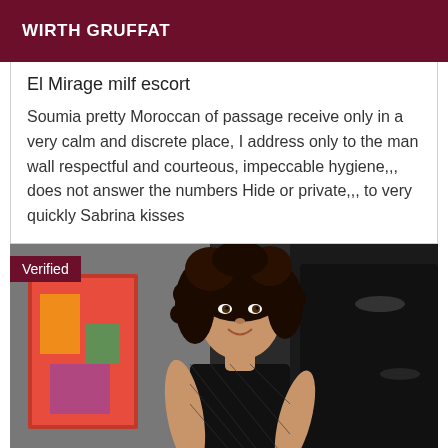WIRTH GRUFFAT
El Mirage milf escort
Soumia pretty Moroccan of passage receive only in a very calm and discrete place, I address only to the man wall respectful and courteous, impeccable hygiene,,, does not answer the numbers Hide or private,,, to very quickly Sabrina kisses
[Figure (photo): Woman with curly dark hair wearing black fishnet clothing, smiling, standing in a room with a colorful painting on the left and dark furniture behind. A 'Verified' badge is shown in the top-left corner of the image.]